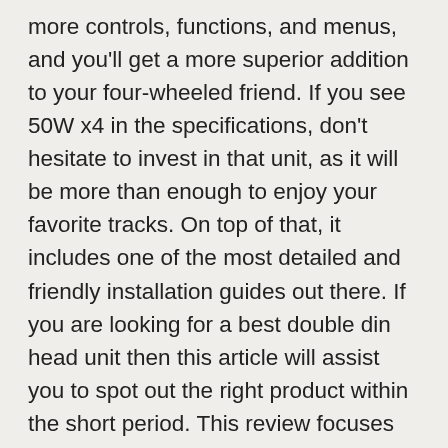more controls, functions, and menus, and you'll get a more superior addition to your four-wheeled friend. If you see 50W x4 in the specifications, don't hesitate to invest in that unit, as it will be more than enough to enjoy your favorite tracks. On top of that, it includes one of the most detailed and friendly installation guides out there. If you are looking for a best double din head unit then this article will assist you to spot out the right product within the short period. This review focuses on the double-din stereo with full mobile app integration. As you would expect, the Sony DSXA415BT is a pretty versatile head unit. But the rest can play on both CDs and USB. Dual phone connectivity expands the horizons for everyone riding in the cabin. You might get lucky and find a plug-in model, but many need to be wired in to take advantage of all they have to offer. Well, the Pioneer DEH-S5100BT really plays well with your phone. In a world where